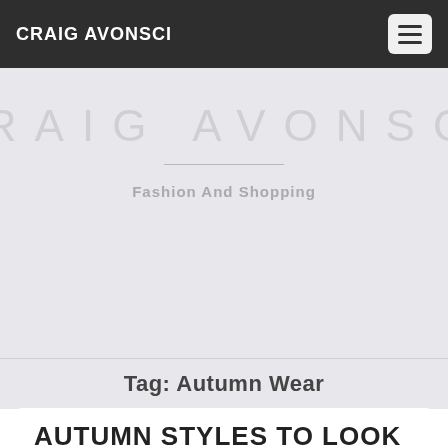CRAIG AVONSCI
CRAIG AVONSCI
Fashion And Shopping
Tag: Autumn Wear
AUTUMN STYLES TO LOOK